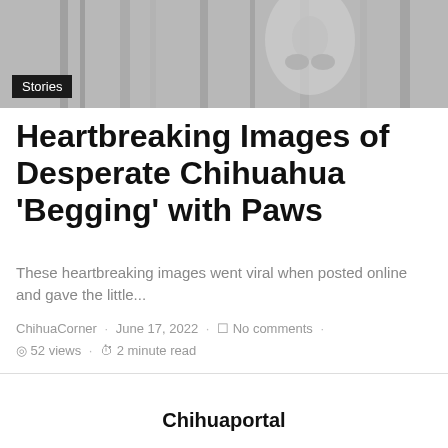[Figure (photo): Black and white photo of a Chihuahua dog pressing its paws against what appears to be wooden slats or fence. A 'Stories' badge overlays the bottom-left of the image.]
Heartbreaking Images of Desperate Chihuahua ‘Begging’ with Paws
These heartbreaking images went viral when posted online and gave the little...
ChihuaCorner · June 17, 2022 · No comments · 52 views · 2 minute read
Chihuaportal